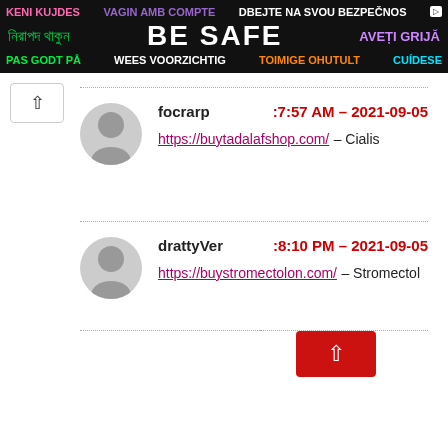[Figure (infographic): Multilingual safety banner ad with text 'BE SAFE' in large white bold letters, surrounded by safety messages in multiple languages including Bengali, Swedish, Dutch, Estonian, Romanian, and others in various colors on a dark background.]
focrarp :7:57 AM - 2021-09-05
https://buytadalafshop.com/ – Cialis
drattyVer :8:10 PM - 2021-09-05
https://buystromectolon.com/ – Stromectol